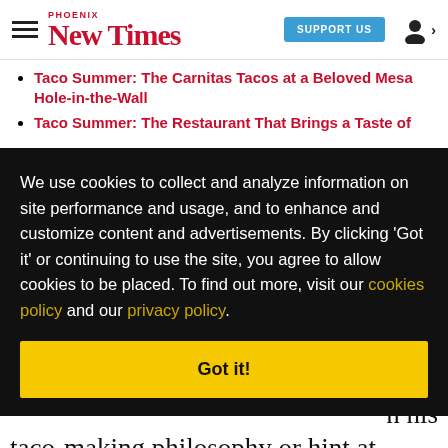Phoenix New Times — SUPPORT US
Taco Summer: The Carnitas Tacos at a Beloved Mesa Hole-in-the-Wall
Taco Summer: The Restaurant That Brings a Taste of
We use cookies to collect and analyze information on site performance and usage, and to enhance and customize content and advertisements. By clicking 'Got it' or continuing to use the site, you agree to allow cookies to be placed. To find out more, visit our cookies policy and our privacy policy.
Got it!
you n his taco-making philosophy or hint at esoteric